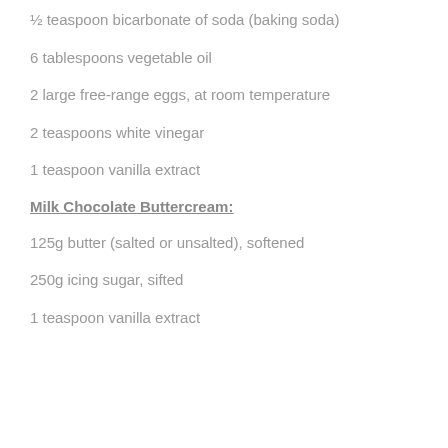½ teaspoon bicarbonate of soda (baking soda)
6 tablespoons vegetable oil
2 large free-range eggs, at room temperature
2 teaspoons white vinegar
1 teaspoon vanilla extract
Milk Chocolate Buttercream:
125g butter (salted or unsalted), softened
250g icing sugar, sifted
1 teaspoon vanilla extract